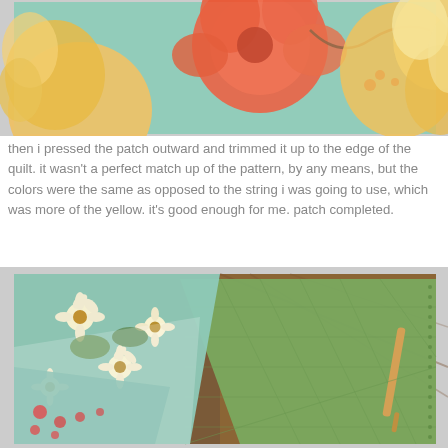[Figure (photo): Close-up photo of floral fabric with large orange/coral flowers and yellow flowers on a mint/teal background, bordered by a thin gray frame.]
then i pressed the patch outward and trimmed it up to the edge of the quilt. it wasn't a perfect match up of the pattern, by any means, but the colors were the same as opposed to the string i was going to use, which was more of the yellow. it's good enough for me. patch completed.
[Figure (photo): Photo of quilting project showing layered floral fabrics (blue/green with white daisies, red berries print) and a green cutting mat with a seam ripper, on a wooden surface, bordered by a thin gray frame.]